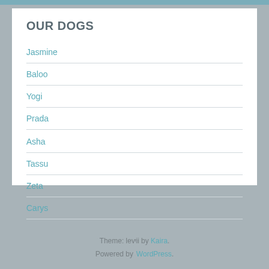OUR DOGS
Jasmine
Baloo
Yogi
Prada
Asha
Tassu
Zeta
Carys
Zorro
Theme: levii by Kaira. Powered by WordPress.